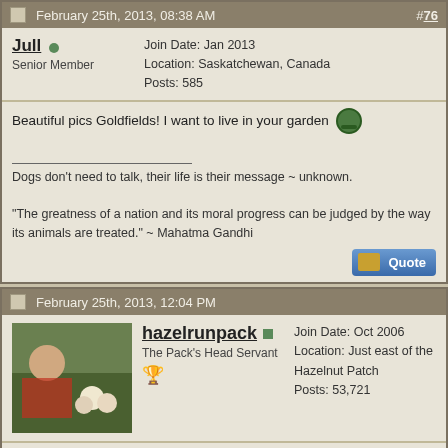February 25th, 2013, 08:38 AM  #76
Jull • Senior Member
Join Date: Jan 2013
Location: Saskatchewan, Canada
Posts: 585
Beautiful pics Goldfields! I want to live in your garden 😊
___
Dogs don't need to talk, their life is their message ~ unknown.

"The greatness of a nation and its moral progress can be judged by the way its animals are treated." ~ Mahatma Gandhi
February 25th, 2013, 12:04 PM
hazelrunpack • The Pack's Head Servant 🏆
Join Date: Oct 2006
Location: Just east of the Hazelnut Patch
Posts: 53,721
Very nice!! Love your pansies!! My fave flower...yes, even more than iris! Shocking, eh? 😊
___
"We are--each of us--dying; it's how we live in the meantime that makes the difference."

"It's not what you gather, but what you scatter that tells what kind of life you lived!"